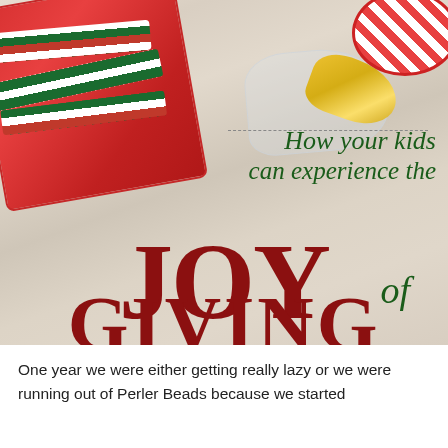[Figure (photo): Christmas/holiday photo showing a red tin box with striped ribbons (red, white, green), a striped bowl top right, yellow ribbon, cellophane wrap, all on a light wood grain background. Large text overlay reads 'How your kids can experience the JOY of GIVING' in dark green italic and dark red bold serif fonts.]
One year we were either getting really lazy or we were running out of Perler Beads because we started